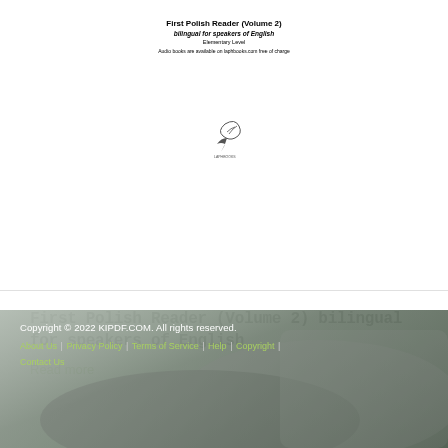[Figure (illustration): Book cover thumbnail for 'First Polish Reader (Volume 2) bilingual for speakers of English, Elementary Level' with a small publisher logo/bird illustration at center]
First Polish Reader (Volume 2) bilingual for speakers of English
Read more
Copyright © 2022 KIPDF.COM. All rights reserved. About Us | Privacy Policy | Terms of Service | Help | Copyright | Contact Us